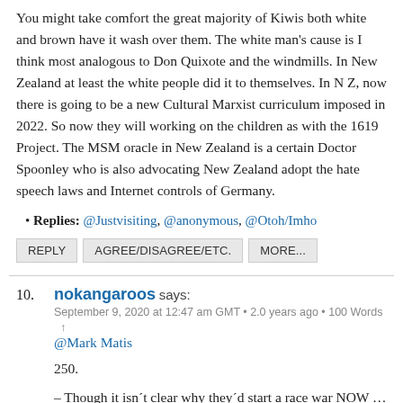You might take comfort the great majority of Kiwis both white and brown have it wash over them. The white man's cause is I think most analogous to Don Quixote and the windmills. In New Zealand at least the white people did it to themselves. In N Z, now there is going to be a new Cultural Marxist curriculum imposed in 2022. So now they will working on the children as with the 1619 Project. The MSM oracle in New Zealand is a certain Doctor Spoonley who is also advocating New Zealand adopt the hate speech laws and Internet controls of Germany.
Replies: @Justvisiting, @anonymous, @Otoh/Imho
REPLY   AGREE/DISAGREE/ETC.   MORE...
10. nokangaroos says: September 9, 2020 at 12:47 am GMT • 2.0 years ago • 100 Words ↑
@Mark Matis
250.
– Though it isn´t clear why they´d start a race war NOW …